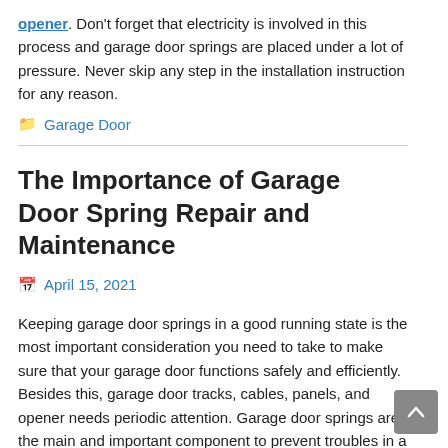opener. Don't forget that electricity is involved in this process and garage door springs are placed under a lot of pressure. Never skip any step in the installation instruction for any reason.
Garage Door
The Importance of Garage Door Spring Repair and Maintenance
April 15, 2021
Keeping garage door springs in a good running state is the most important consideration you need to take to make sure that your garage door functions safely and efficiently. Besides this, garage door tracks, cables, panels, and opener needs periodic attention. Garage door springs are the main and important component to prevent troubles in a long run. In this article, you will learn how preventive garage door spring maintenance will help you to